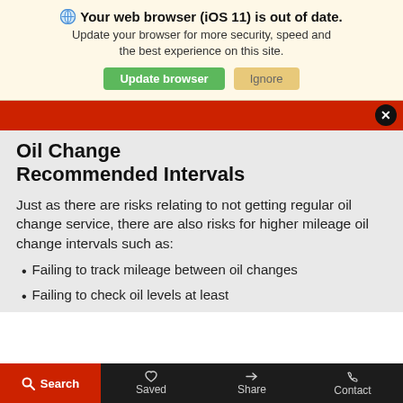🌐 Your web browser (iOS 11) is out of date. Update your browser for more security, speed and the best experience on this site. [Update browser] [Ignore]
Oil Change Recommended Intervals
Just as there are risks relating to not getting regular oil change service, there are also risks for higher mileage oil change intervals such as:
Failing to track mileage between oil changes
Failing to check oil levels at least
Search   Saved   Share   Contact